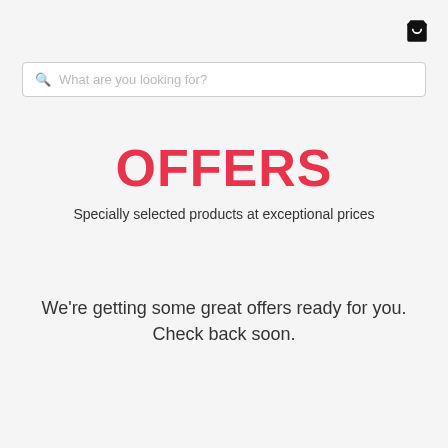[Figure (illustration): Shopping bag icon in top right corner]
What are you looking for?
OFFERS
Specially selected products at exceptional prices
We're getting some great offers ready for you. Check back soon.